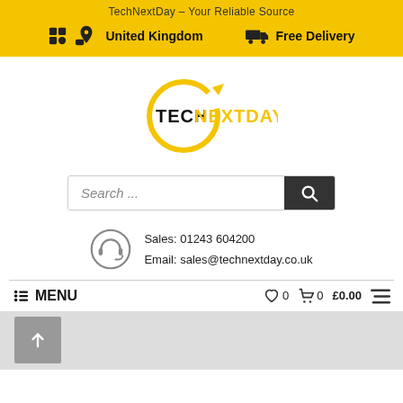TechNextDay – Your Reliable Source
United Kingdom   Free Delivery
[Figure (logo): TechNextDay logo — circular yellow arrow with TECH in black and NEXTDAY in yellow bold text]
Search ...
Sales: 01243 604200
Email: sales@technextday.co.uk
MENU   ♡ 0   🛒 0   £0.00